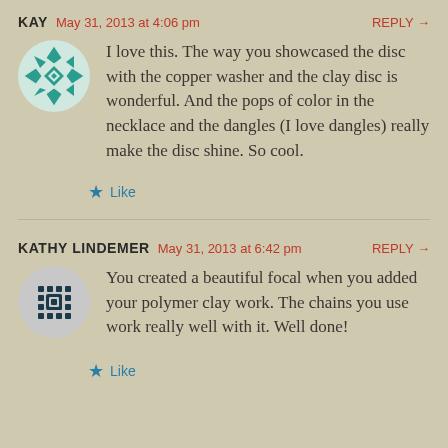KAY   May 31, 2013 at 4:06 pm   REPLY →
[Figure (illustration): Avatar icon: teal/white geometric diamond pattern on circular background]
I love this. The way you showcased the disc with the copper washer and the clay disc is wonderful. And the pops of color in the necklace and the dangles (I love dangles) really make the disc shine. So cool.
★ Like
KATHY LINDEMER   May 31, 2013 at 6:42 pm   REPLY →
[Figure (illustration): Avatar icon: dark teal/navy geometric dot/diamond pattern on circular background]
You created a beautiful focal when you added your polymer clay work. The chains you use work really well with it. Well done!
★ Like